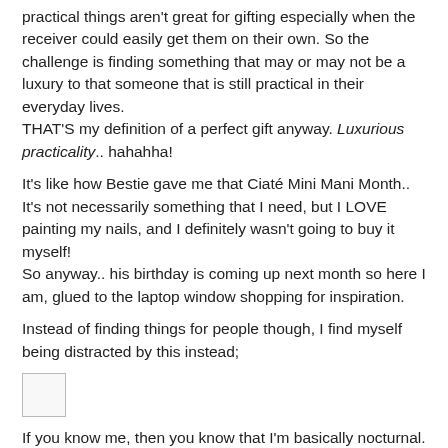practical things aren't great for gifting especially when the receiver could easily get them on their own. So the challenge is finding something that may or may not be a luxury to that someone that is still practical in their everyday lives.
THAT'S my definition of a perfect gift anyway. Luxurious practicality.. hahahha!
It's like how Bestie gave me that Ciaté Mini Mani Month.. It's not necessarily something that I need, but I LOVE painting my nails, and I definitely wasn't going to buy it myself!
So anyway.. his birthday is coming up next month so here I am, glued to the laptop window shopping for inspiration.
Instead of finding things for people though, I find myself being distracted by this instead;
[Figure (other): Small image placeholder (white box with border)]
If you know me, then you know that I'm basically nocturnal. I really have a hard time falling asleep at night, and not for the lack of trying! I'm staying away from any medications, and would much prefer trying out a natural way to help me sleep.